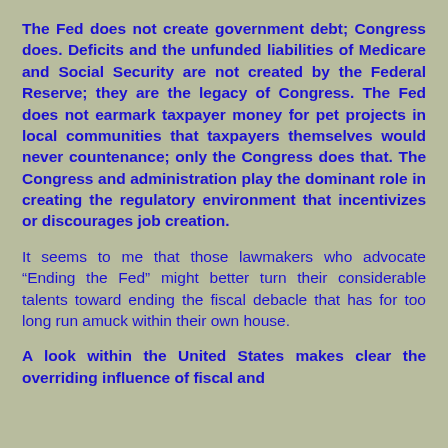The Fed does not create government debt; Congress does. Deficits and the unfunded liabilities of Medicare and Social Security are not created by the Federal Reserve; they are the legacy of Congress. The Fed does not earmark taxpayer money for pet projects in local communities that taxpayers themselves would never countenance; only the Congress does that. The Congress and administration play the dominant role in creating the regulatory environment that incentivizes or discourages job creation.
It seems to me that those lawmakers who advocate “Ending the Fed” might better turn their considerable talents toward ending the fiscal debacle that has for too long run amuck within their own house.
A look within the United States makes clear the overriding influence of fiscal and